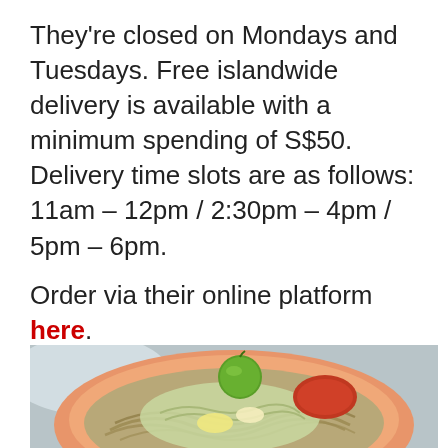They're closed on Mondays and Tuesdays. Free islandwide delivery is available with a minimum spending of S$50. Delivery time slots are as follows: 11am – 12pm / 2:30pm – 4pm / 5pm – 6pm.
Order via their online platform here.
[Figure (photo): A plate of noodles with a lime, sambal sauce, and mixed toppings including egg and vegetables on an orange plate, on a stainless steel surface.]